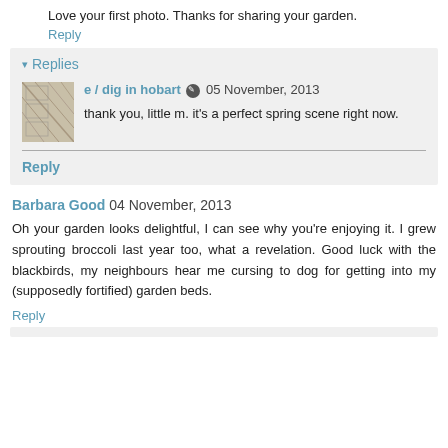Love your first photo. Thanks for sharing your garden.
Reply
▾ Replies
e / dig in hobart  05 November, 2013
thank you, little m. it's a perfect spring scene right now.
Reply
Barbara Good  04 November, 2013
Oh your garden looks delightful, I can see why you're enjoying it. I grew sprouting broccoli last year too, what a revelation. Good luck with the blackbirds, my neighbours hear me cursing to dog for getting into my (supposedly fortified) garden beds.
Reply